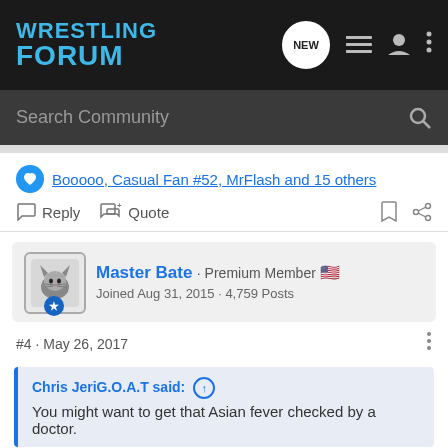WRESTLING FORUM
Search Community
Booooo, Casual Fan #52, MrFlash and 15 others
Reply  Quote
Master Bate · Premium Member 🇺🇸
Joined Aug 31, 2015 · 4,759 Posts
#4 · May 26, 2017
Chris JeriG.O.A.T said: ↑
You might want to get that Asian fever checked by a doctor.
True. Have no idea why I'm like this tbh
Though I will say Brock has had some great Sakina...